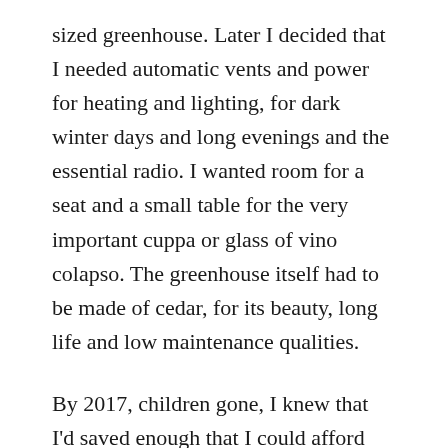sized greenhouse. Later I decided that I needed automatic vents and power for heating and lighting, for dark winter days and long evenings and the essential radio. I wanted room for a seat and a small table for the very important cuppa or glass of vino colapso. The greenhouse itself had to be made of cedar, for its beauty, long life and low maintenance qualities.
By 2017, children gone, I knew that I'd saved enough that I could afford something special at the Spring Show. With a view to having time to prepare the base, I enlisted my sons' help to demolish the old shed.  I couldn't wait for my Sheddy-greenhouse to arrive but was also anxious as it is still the most expensive present I've ever bought myself.